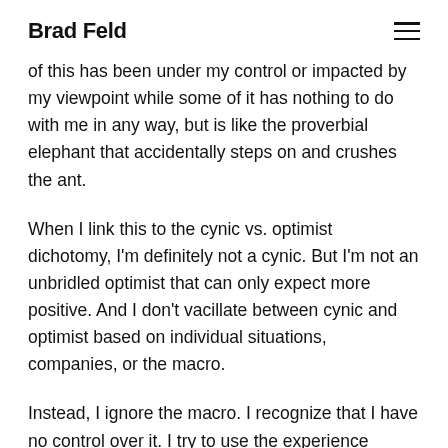Brad Feld
of this has been under my control or impacted by my viewpoint while some of it has nothing to do with me in any way, but is like the proverbial elephant that accidentally steps on and crushes the ant.
When I link this to the cynic vs. optimist dichotomy, I'm definitely not a cynic. But I'm not an unbridled optimist that can only expect more positive. And I don't vacillate between cynic and optimist based on individual situations, companies, or the macro.
Instead, I ignore the macro. I recognize that I have no control over it. I try to use the experience